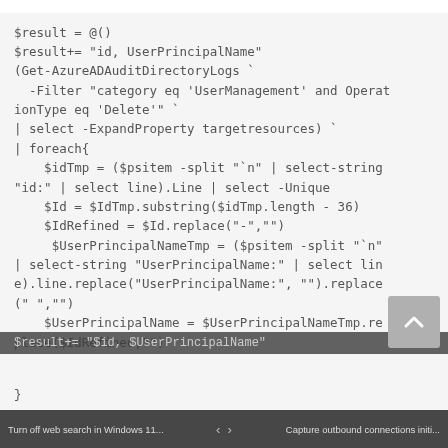[Figure (screenshot): Screenshot of a PowerShell code block showing Azure AD audit log query. Code retrieves deleted user accounts by filtering audit directory logs for UserManagement Delete operations, then extracts and cleans up Id and UserPrincipalName fields.]
Turn off web search in Windows 11...  <  >  Capture outbound connections initi...